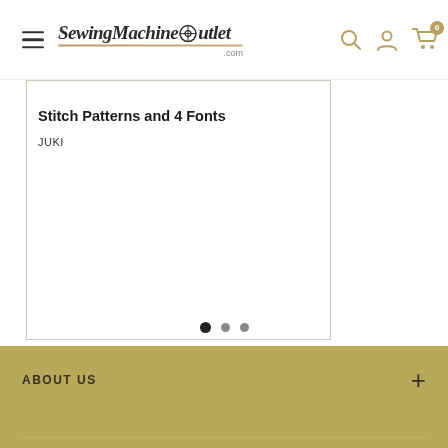SewingMachineOutlet.com
Stitch Patterns and 4 Fonts
JUKI
[Figure (illustration): Box/package icon representing shipping]
Free Shipping on Orders Over $49* Exclusions Apply, Read
ABOUT US